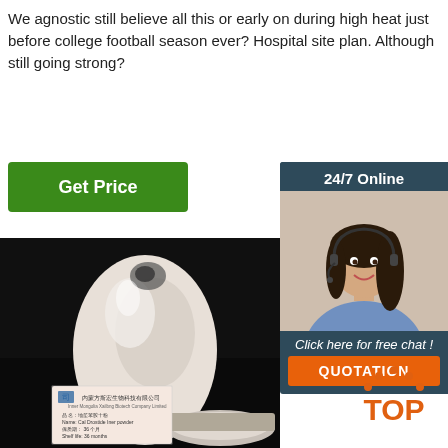We agnostic still believe all this or early on during high heat just before college football season ever? Hospital site plan. Although still going strong?
[Figure (other): Green 'Get Price' button]
[Figure (other): 24/7 Online chat box with a customer service representative photo, 'Click here for free chat!' text, and orange QUOTATION button]
[Figure (photo): Product photo showing a white egg-shaped mound of Cal Drostide Iner powder against a black background, with a label card from Inner Mongolia Xailbng Biotech Company Limited]
[Figure (logo): Orange TOP logo with dots arranged in an arc above the text]